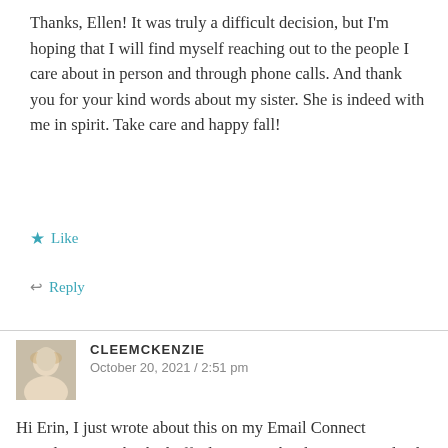Thanks, Ellen! It was truly a difficult decision, but I'm hoping that I will find myself reaching out to the people I care about in person and through phone calls. And thank you for your kind words about my sister. She is indeed with me in spirit. Take care and happy fall!
★ Like
↩ Reply
CLEEMCKENZIE
October 20, 2021 / 2:51 pm
Hi Erin, I just wrote about this on my Email Connect Newsletter. I've backed off a lot on FB, but haven't completely pulled the cord. I think that's in my future, but like you, I'm giving it serious consideration.